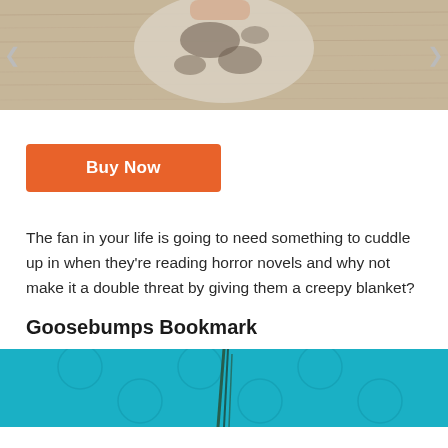[Figure (photo): Top portion of a cow-print blanket or item on a wood grain surface background, partially cropped]
Buy Now
The fan in your life is going to need something to cuddle up in when they're reading horror novels and why not make it a double threat by giving them a creepy blanket?
Goosebumps Bookmark
[Figure (photo): Bottom portion showing a blue tufted surface with what appears to be a bookmark tassel, image cropped at bottom]